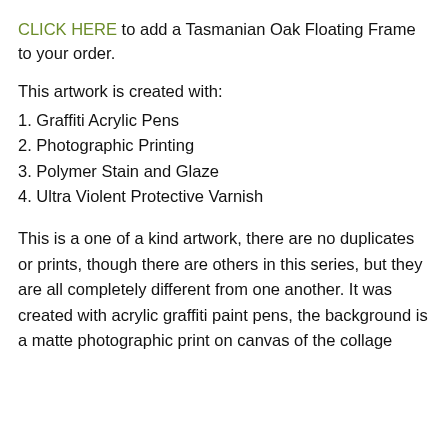CLICK HERE to add a Tasmanian Oak Floating Frame to your order.
This artwork is created with:
1. Graffiti Acrylic Pens
2. Photographic Printing
3. Polymer Stain and Glaze
4. Ultra Violent Protective Varnish
This is a one of a kind artwork, there are no duplicates or prints, though there are others in this series, but they are all completely different from one another. It was created with acrylic graffiti paint pens, the background is a matte photographic print on canvas of the collage